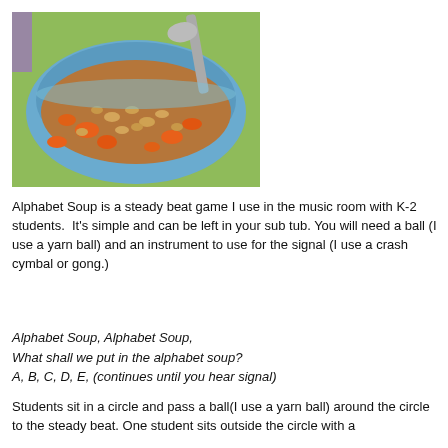[Figure (photo): A blue bowl filled with alphabet soup (noodle letters, carrots, chicken broth) with a spoon resting on the edge, on a green background.]
Alphabet Soup is a steady beat game I use in the music room with K-2 students.  It's simple and can be left in your sub tub. You will need a ball (I use a yarn ball) and an instrument to use for the signal (I use a crash cymbal or gong.)
Alphabet Soup, Alphabet Soup,
What shall we put in the alphabet soup?
A, B, C, D, E, (continues until you hear signal)
Students sit in a circle and pass a ball(I use a yarn ball) around the circle to the steady beat. One student sits outside the circle with a